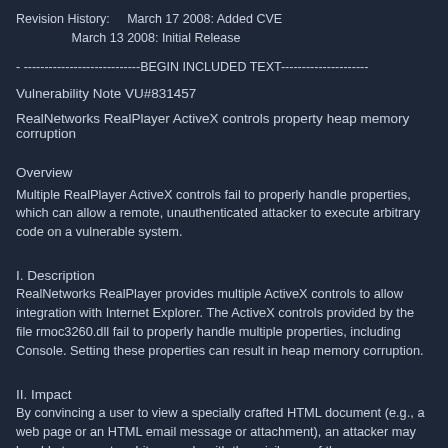Revision History:    March 17 2008: Added CVE
                March 13 2008: Initial Release
- ----------------------------BEGIN INCLUDED TEXT---------------------
Vulnerability Note VU#831457
RealNetworks RealPlayer ActiveX controls property heap memory corruption
Overview
Multiple RealPlayer ActiveX controls fail to properly handle properties, which can allow a remote, unauthenticated attacker to execute arbitrary code on a vulnerable system.
I. Description
RealNetworks RealPlayer provides multiple ActiveX controls to allow integration with Internet Explorer. The ActiveX controls provided by the file rmoc3260.dll fail to properly handle multiple properties, including Console. Setting these properties can result in heap memory corruption.
II. Impact
By convincing a user to view a specially crafted HTML document (e.g., a web page or an HTML email message or attachment), an attacker may be able to execute arbitrary code with the privileges of the user.
III. Solution
We are currently unaware of a practical solution to this problem. Please